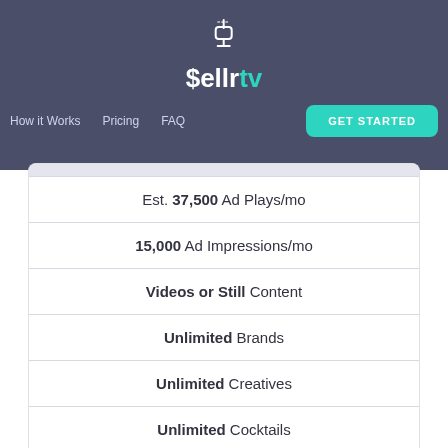[Figure (logo): sellrtv logo with microphone icon, 'sellr' in white and 'tv' in teal/green]
How it Works   Pricing   FAQ   GET STARTED
Est. 37,500 Ad Plays/mo
15,000 Ad Impressions/mo
Videos or Still Content
Unlimited Brands
Unlimited Creatives
Unlimited Cocktails
~40% Weighted to Product Category Tablets